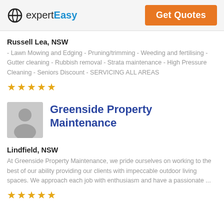expertEasy | Get Quotes
Russell Lea, NSW
- Lawn Mowing and Edging - Pruning/trimming - Weeding and fertilising - Gutter cleaning - Rubbish removal - Strata maintenance - High Pressure Cleaning - Seniors Discount - SERVICING ALL AREAS
★★★★★
[Figure (illustration): Person silhouette avatar placeholder image]
Greenside Property Maintenance
Lindfield, NSW
At Greenside Property Maintenance, we pride ourselves on working to the best of our ability providing our clients with impeccable outdoor living spaces. We approach each job with enthusiasm and have a passionate ...
★★★★★